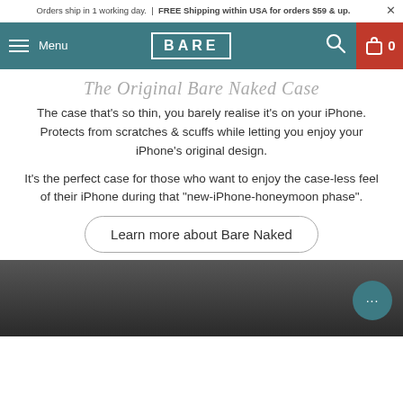Orders ship in 1 working day. | FREE Shipping within USA for orders $59 & up.
Menu | BARE | 0
The Original Bare Naked Case
The case that's so thin, you barely realise it's on your iPhone. Protects from scratches & scuffs while letting you enjoy your iPhone's original design.
It's the perfect case for those who want to enjoy the case-less feel of their iPhone during that "new-iPhone-honeymoon phase".
Learn more about Bare Naked
[Figure (photo): Dark bottom section of webpage with chat bubble icon in teal]